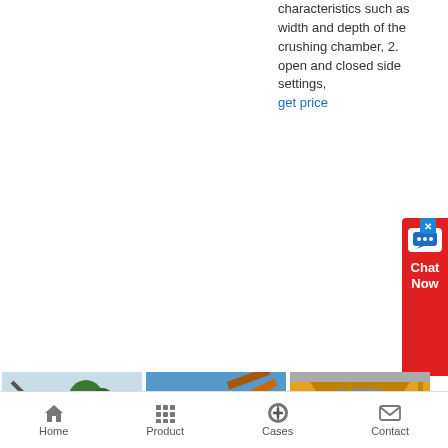characteristics such as width and depth of the crushing chamber, 2. open and closed side settings,
get price
[Figure (photo): Mobile jaw crusher machine on a construction/mining site with dirt mound]
calculation for jaw crusher
[Figure (photo): Large orange mobile crushing plant on a truck, parked on a dirt road under blue sky]
capacity calculation
[Figure (photo): Yellow jaw crusher machine with cab visible and aggregate material being processed]
How do you calculate jaw
Home   Product   Cases   Contact